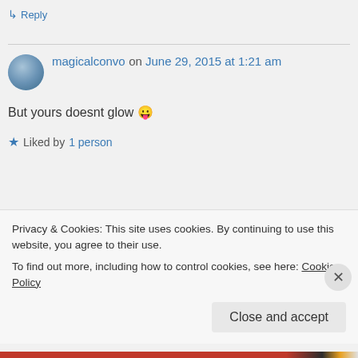↳ Reply
magicalconvo on June 29, 2015 at 1:21 am
But yours doesnt glow 😛
★ Liked by 1 person
Patti Clark on June 30, 2015 at 9:17
Privacy & Cookies: This site uses cookies. By continuing to use this website, you agree to their use.
To find out more, including how to control cookies, see here: Cookie Policy
Close and accept